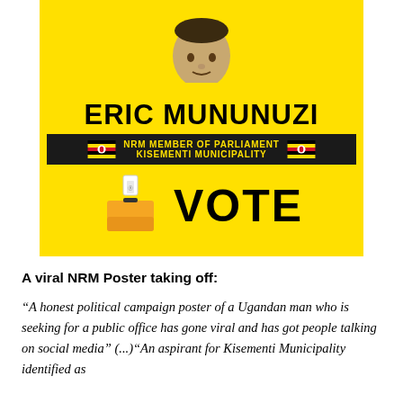[Figure (photo): Yellow NRM political campaign poster for Eric Mununuzi, NRM Member of Parliament candidate for Kisementi Municipality. Features a man's photo at top, Uganda flags, and a ballot box with VOTE text.]
A viral NRM Poster taking off:
“A honest political campaign poster of a Ugandan man who is seeking for a public office has gone viral and has got people talking on social media” (...)“An aspirant for Kisementi Municipality identified as